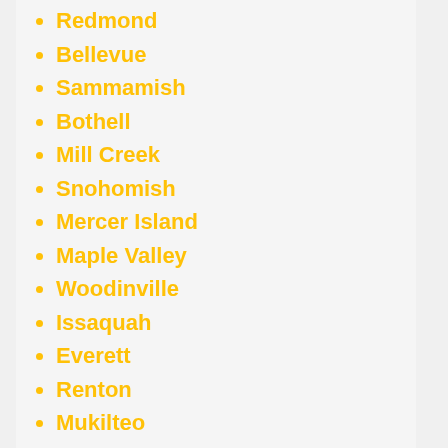Redmond
Bellevue
Sammamish
Bothell
Mill Creek
Snohomish
Mercer Island
Maple Valley
Woodinville
Issaquah
Everett
Renton
Mukilteo